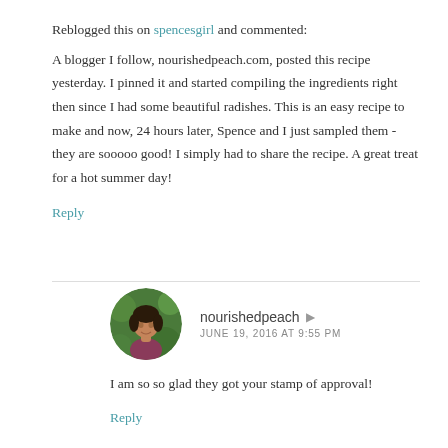Reblogged this on spencesgirl and commented:
A blogger I follow, nourishedpeach.com, posted this recipe yesterday. I pinned it and started compiling the ingredients right then since I had some beautiful radishes. This is an easy recipe to make and now, 24 hours later, Spence and I just sampled them - they are sooooo good! I simply had to share the recipe. A great treat for a hot summer day!
Reply
[Figure (photo): Circular avatar photo of a woman with dark hair wearing a pink/maroon top, set against a green outdoor background]
nourishedpeach
JUNE 19, 2016 AT 9:55 PM
I am so so glad they got your stamp of approval!
Reply